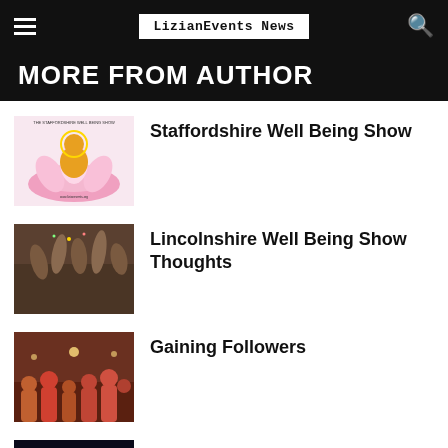LizianEvents News
MORE FROM AUTHOR
[Figure (illustration): Staffordshire Well Being Show logo with golden Buddha on pink lotus flower]
Staffordshire Well Being Show
[Figure (photo): People raising hands together in celebration]
Lincolnshire Well Being Show Thoughts
[Figure (photo): Crowd at an event in colorful clothing]
Gaining Followers
[Figure (photo): Fireworks against dark night sky]
Lincolnshire Show Guide